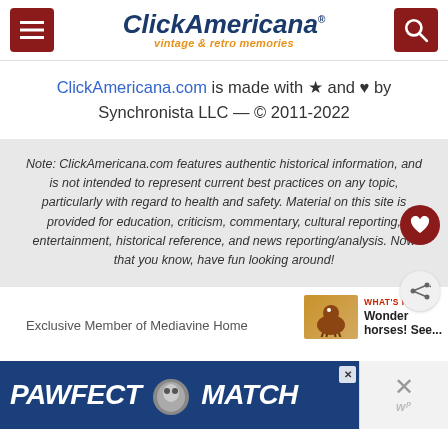Click Americana - vintage & retro memories
ClickAmericana.com is made with ★ and ♥ by Synchronista LLC — © 2011-2022
Note: ClickAmericana.com features authentic historical information, and is not intended to represent current best practices on any topic, particularly with regard to health and safety. Material on this site is provided for education, criticism, commentary, cultural reporting, entertainment, historical reference, and news reporting/analysis. Now that you know, have fun looking around!
Exclusive Member of Mediavine Home
WHAT'S NEXT → Wonder horses! See...
[Figure (screenshot): PAWFECT MATCH advertisement banner with cat image]